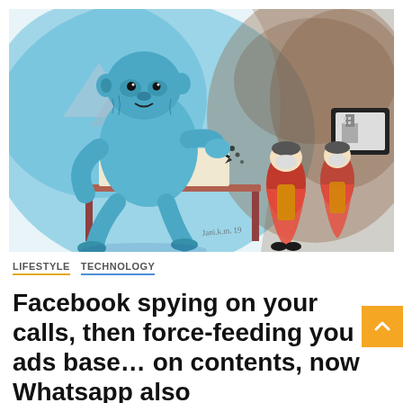[Figure (illustration): Watercolor cartoon illustration. On the left side, a large blue ape-like creature sits at a desk writing on paper, with a cave/tunnel and mountains in the background. On the right side, two cartoon figures in red/orange robes stand looking at a television or screen showing a building.]
LIFESTYLE   TECHNOLOGY
Facebook spying on your calls, then force-feeding you ads based on contents, now Whatsapp also